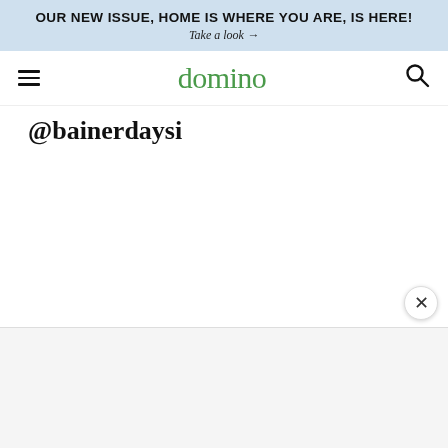OUR NEW ISSUE, HOME IS WHERE YOU ARE, IS HERE!
Take a look →
domino
@bainerdaysi